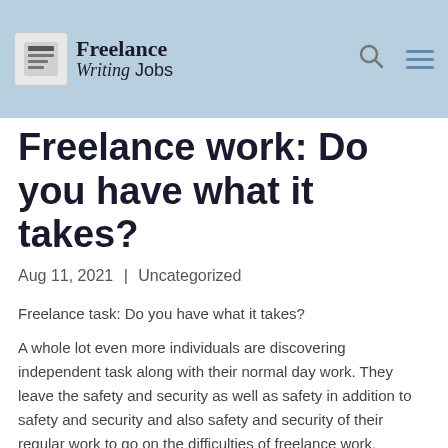Freelance Writing Jobs
Freelance work: Do you have what it takes?
Aug 11, 2021 | Uncategorized
Freelance task: Do you have what it takes?
A whole lot even more individuals are discovering independent task along with their normal day work. They leave the safety and security as well as safety in addition to safety and security and also safety and security of their regular work to go on the difficulties of freelance work.
* Wider collection of task opportunities;
* ...